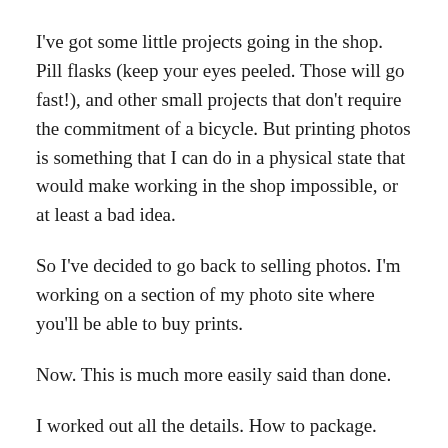I've got some little projects going in the shop.  Pill flasks (keep your eyes peeled.  Those will go fast!), and other small projects that don't require the commitment of a bicycle.  But printing photos is something that I can do in a physical state that would make working in the shop impossible, or at least a bad idea.
So I've decided to go back to selling photos.  I'm working on a section of my photo site where you'll be able to buy prints.
Now.  This is much more easily said than done.
I worked out all the details.  How to package.  How to ship.  How to deal with the e-commerce.  I got a label printer, so that I wouldn't be wasting paper, or dealing with messy tape.  Everything was ready to go, streamlined, and then it came time to decide what